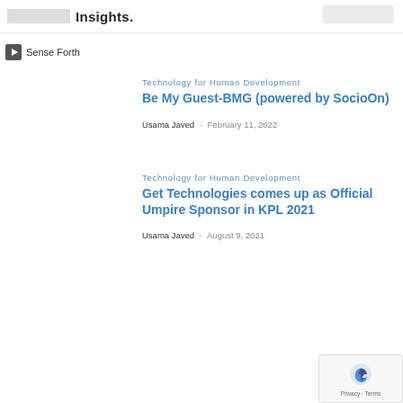Insights.
Sense Forth
Technology for Human Development
Be My Guest-BMG (powered by SocioOn)
Usama Javed - February 11, 2022
Technology for Human Development
Get Technologies comes up as Official Umpire Sponsor in KPL 2021
Usama Javed - August 9, 2021